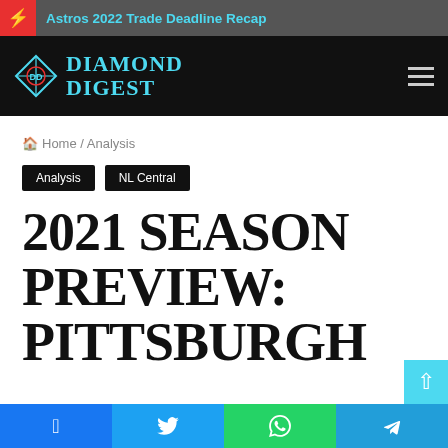Astros 2022 Trade Deadline Recap
[Figure (logo): Diamond Digest logo — baseball diamond icon and stylized text 'Diamond Digest' in teal/cyan on black background]
Home / Analysis
Analysis
NL Central
2021 SEASON PREVIEW: PITTSBURGH
Facebook  Twitter  WhatsApp  Telegram